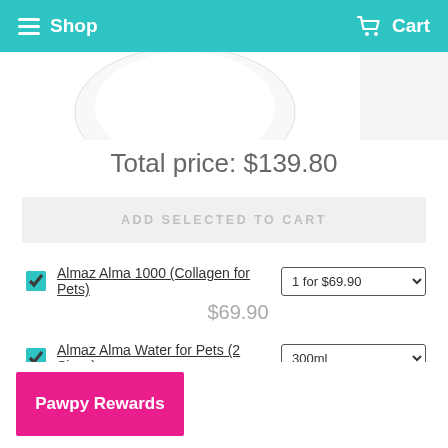Shop   Cart
[Figure (photo): Partial product image visible at top of page, white circular product container against white background]
Total price: $139.80
ADD SELECTED TO CART
Almaz Alma 1000 (Collagen for Pets) — 1 for $69.90 — $69.90
Almaz Alma Water for Pets (2 Sizes) — 300ml — $69.90
Pawpy Rewards